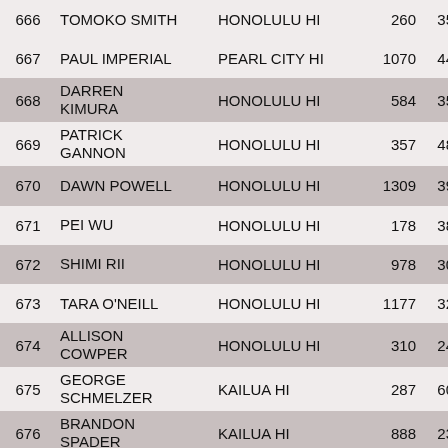| # | Name | City | Bib | Age | Info |
| --- | --- | --- | --- | --- | --- |
| 666 | TOMOKO SMITH | HONOLULU HI | 260 | 35 | 38 F 35-39 |
| 667 | PAUL IMPERIAL | PEARL CITY HI | 1070 | 44 | 64 M 40-44 |
| 668 | DARREN KIMURA | HONOLULU HI | 584 | 35 | 67 M 35-39 |
| 669 | PATRICK GANNON | HONOLULU HI | 357 | 48 | 58 M 45-49 |
| 670 | DAWN POWELL | HONOLULU HI | 1309 | 39 | 39 F 35-39 |
| 671 | PEI WU | HONOLULU HI | 178 | 38 | 40 F 35-39 |
| 672 | SHIMI RII | HONOLULU HI | 978 | 30 | 46 F 30-34 |
| 673 | TARA O'NEILL | HONOLULU HI | 1177 | 32 | 47 F 30-34 |
| 674 | ALLISON COWPER | HONOLULU HI | 310 | 24 | 20 F 20-24 |
| 675 | GEORGE SCHMELZER | KAILUA HI | 287 | 60 | 12 M 60-64 |
| 676 | BRANDON SPADER | KAILUA HI | 888 | 23 | 19 M 20-24 |
| 677 | FRANCISCO MILANDE | HONOLULU HI | 1151 | 63 | 13 M 60-64 |